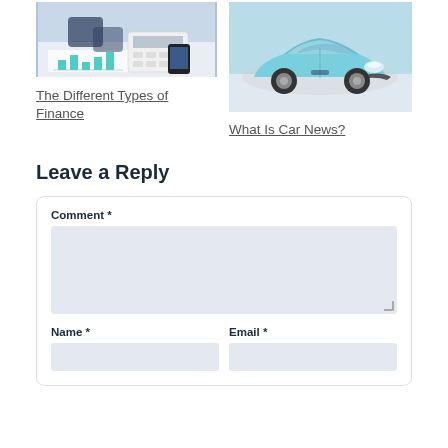[Figure (photo): Person using calculator and phone with financial charts on desk]
[Figure (photo): Light blue Toyota Prius car on display]
The Different Types of Finance
What Is Car News?
Leave a Reply
Comment *
Name *
Email *